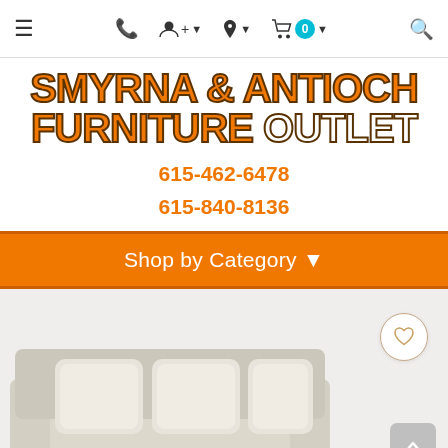Navigation bar with menu, phone, user, location, cart (0), search icons
[Figure (logo): Smyrna & Antioch Furniture Outlet logo in orange bold text with dark outline]
615-462-6478
615-840-8136
Shop by Category ▾
[Figure (photo): Beige/cream sofa with three cushions, partially visible at bottom of page. A heart/wishlist button (circle with heart outline) in upper right of product area, and a back-to-top arrow button (grey square) in lower right.]